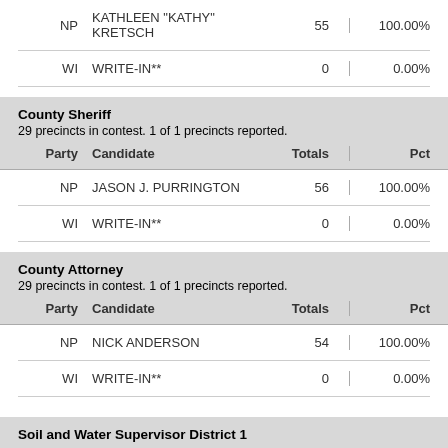| Party | Candidate | Totals | Pct |
| --- | --- | --- | --- |
| NP | KATHLEEN "KATHY" KRETSCH | 55 | 100.00% |
| WI | WRITE-IN** | 0 | 0.00% |
County Sheriff
29 precincts in contest. 1 of 1 precincts reported.
| Party | Candidate | Totals | Pct |
| --- | --- | --- | --- |
| NP | JASON J. PURRINGTON | 56 | 100.00% |
| WI | WRITE-IN** | 0 | 0.00% |
County Attorney
29 precincts in contest. 1 of 1 precincts reported.
| Party | Candidate | Totals | Pct |
| --- | --- | --- | --- |
| NP | NICK ANDERSON | 54 | 100.00% |
| WI | WRITE-IN** | 0 | 0.00% |
Soil and Water Supervisor District 1